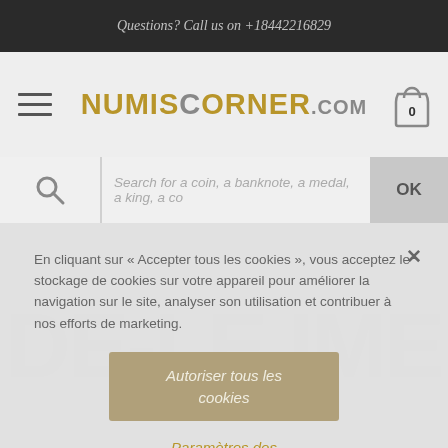Questions? Call us on +18442216829
[Figure (logo): NumisCorner.com logo in gold/brown colors with hamburger menu and shopping cart icon showing 0 items]
Search for a coin, a banknote, a medal, a king, a co
En cliquant sur « Accepter tous les cookies », vous acceptez le stockage de cookies sur votre appareil pour améliorer la navigation sur le site, analyser son utilisation et contribuer à nos efforts de marketing.
Autoriser tous les cookies
Paramètres des cookies